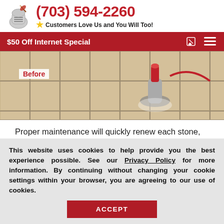(703) 594-2260 — Customers Love Us and You Will Too!
$50 Off Internet Special
[Figure (photo): Before photo of tile/stone floor being cleaned by a machine, with a red cleaning device visible]
Proper maintenance will quickly renew each stone, slate and slab to its original luster. Our Fort Totten stone cleaning
This website uses cookies to help provide you the best experience possible. See our Privacy Policy for more information. By continuing without changing your cookie settings within your browser, you are agreeing to our use of cookies.
ACCEPT